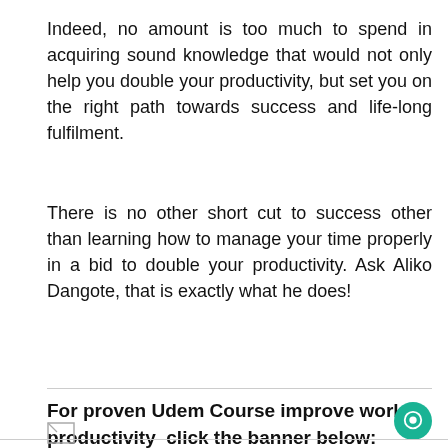Indeed, no amount is too much to spend in acquiring sound knowledge that would not only help you double your productivity, but set you on the right path towards success and life-long fulfilment.
There is no other short cut to success other than learning how to manage your time properly in a bid to double your productivity. Ask Aliko Dangote, that is exactly what he does!
For proven Udem Course improve work productivity  click the banner below:
[Figure (other): Broken image placeholder icon]